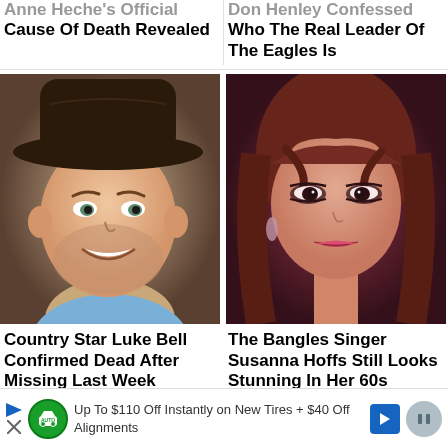Anne Heche's Official Cause Of Death Revealed
Don Henley Confessed Who The Real Leader Of The Eagles Is
[Figure (photo): Man wearing a dark cowboy hat, smiling, with beard stubble, wearing a light blue shirt]
[Figure (photo): Woman with dark hair and heavy eye makeup, wearing dangly earrings, dramatic lighting with pink/purple tones]
Country Star Luke Bell Confirmed Dead After Missing Last Week
The Bangles Singer Susanna Hoffs Still Looks Stunning In Her 60s
Up To $110 Off Instantly on New Tires + $40 Off Alignments